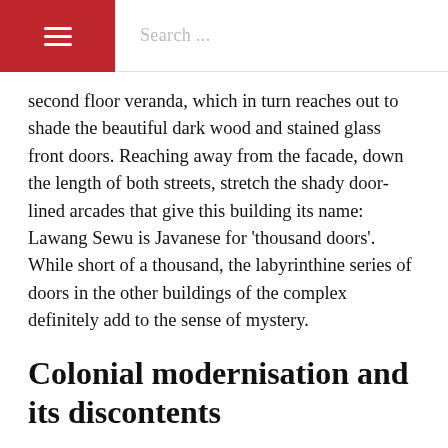☰  Search ...
second floor veranda, which in turn reaches out to shade the beautiful dark wood and stained glass front doors. Reaching away from the facade, down the length of both streets, stretch the shady door-lined arcades that give this building its name: Lawang Sewu is Javanese for 'thousand doors'. While short of a thousand, the labyrinthine series of doors in the other buildings of the complex definitely add to the sense of mystery.
Colonial modernisation and its discontents
Entering Lawang Sewu's Building A is to enter a chapel dedicated to Dutch technology. The